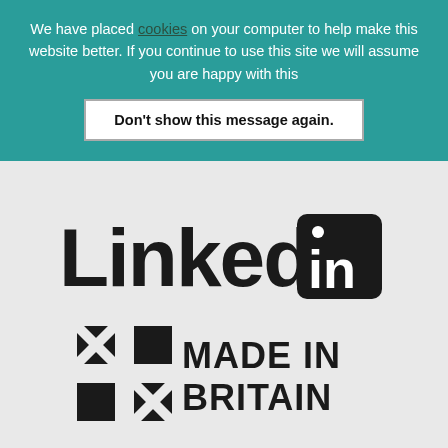We have placed cookies on your computer to help make this website better. If you continue to use this site we will assume you are happy with this
Don't show this message again.
[Figure (logo): LinkedIn logo in black and white — word 'Linked' in large bold black text next to a black rounded-square box with white 'in' text]
[Figure (logo): Made in Britain logo — stylized Union Jack flag icon on the left with bold black text MADE IN BRITAIN on the right]